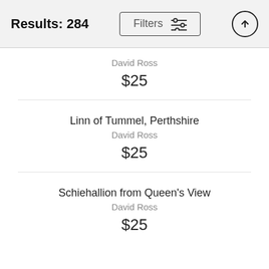Results: 284
Filters
David Ross
$25
Linn of Tummel, Perthshire
David Ross
$25
Schiehallion from Queen's View
David Ross
$25